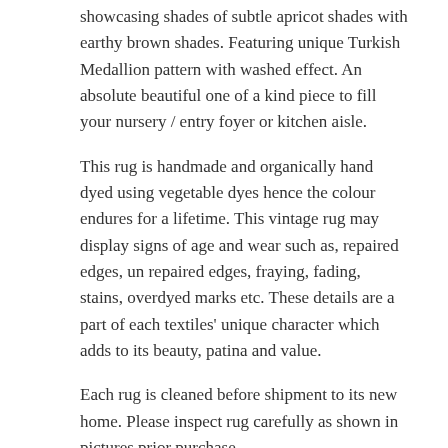showcasing shades of subtle apricot shades with earthy brown shades. Featuring unique Turkish Medallion pattern with washed effect. An absolute beautiful one of a kind piece to fill your nursery / entry foyer or kitchen aisle.
This rug is handmade and organically hand dyed using vegetable dyes hence the colour endures for a lifetime. This vintage rug may display signs of age and wear such as, repaired edges, un repaired edges, fraying, fading, stains, overdyed marks etc. These details are a part of each textiles' unique character which adds to its beauty, patina and value.
Each rug is cleaned before shipment to its new home. Please inspect rug carefully as shown in pictures prior purchase.
Each artisan rug is made unique and distinctively beautiful from one to another.
100% Wool
Dimension Size : 148cm x 110cm